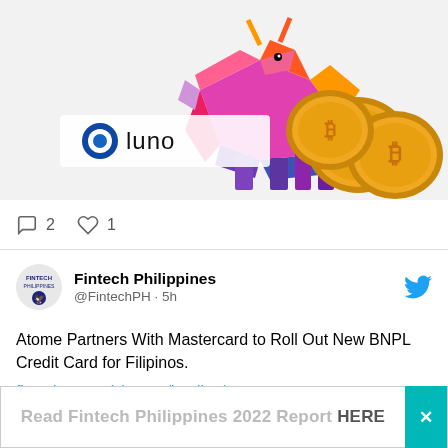[Figure (photo): Luno cryptocurrency exchange banner image featuring the Luno logo on the left and gold Bitcoin coins alongside a colorful polygonal bull figure on the right, against a light background.]
2  1
Fintech Philippines @FintechPH · 5h
Atome Partners With Mastercard to Roll Out New BNPL Credit Card for Filipinos.
fintechnews.ph/56532/lending/...
@AtomeSg @Mastercard #Philippines
Read Fintech Philippines 2022 Report HERE